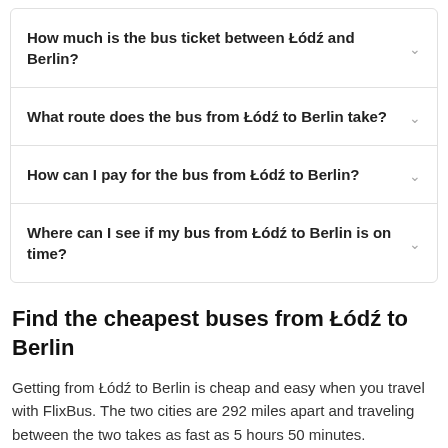How much is the bus ticket between Łódź and Berlin?
What route does the bus from Łódź to Berlin take?
How can I pay for the bus from Łódź to Berlin?
Where can I see if my bus from Łódź to Berlin is on time?
Find the cheapest buses from Łódź to Berlin
Getting from Łódź to Berlin is cheap and easy when you travel with FlixBus. The two cities are 292 miles apart and traveling between the two takes as fast as 5 hours 50 minutes.